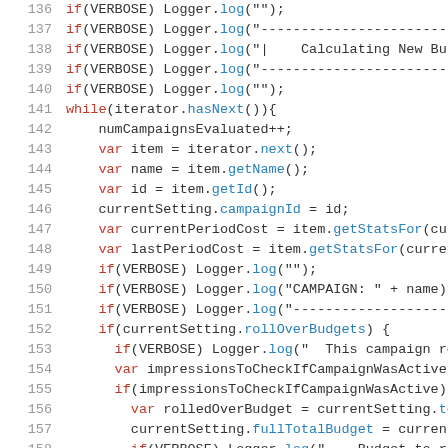Source code listing lines 136-158, JavaScript code showing campaign budget evaluation logic with VERBOSE logging, while loop iterating campaigns, and rollOverBudgets conditional handling.